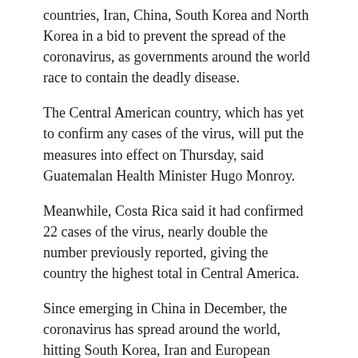countries, Iran, China, South Korea and North Korea in a bid to prevent the spread of the coronavirus, as governments around the world race to contain the deadly disease.
The Central American country, which has yet to confirm any cases of the virus, will put the measures into effect on Thursday, said Guatemalan Health Minister Hugo Monroy.
Meanwhile, Costa Rica said it had confirmed 22 cases of the virus, nearly double the number previously reported, giving the country the highest total in Central America.
Since emerging in China in December, the coronavirus has spread around the world, hitting South Korea, Iran and European countries such as Italy and Spain particularly hard.
Guatemalan minister Monroy said the ban would apply to all Europeans before his office later added the Asian